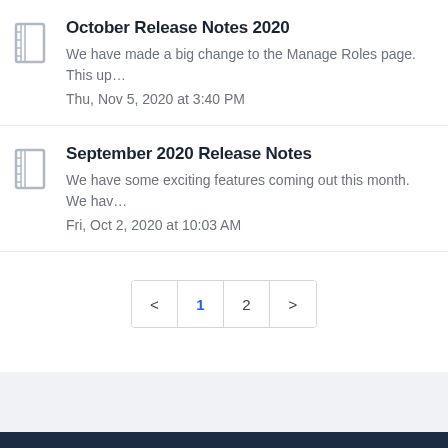October Release Notes 2020
We have made a big change to the Manage Roles page. This up…
Thu, Nov 5, 2020 at 3:40 PM
September 2020 Release Notes
We have some exciting features coming out this month. We hav…
Fri, Oct 2, 2020 at 10:03 AM
< 1 2 >
Home   Solutions